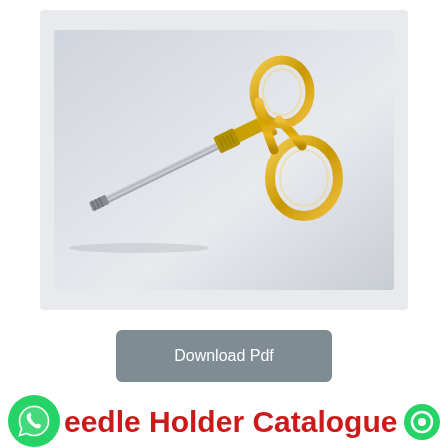[Figure (photo): A surgical needle holder instrument with gold-colored finger rings and ratchet handle, and a long stainless steel shaft with straight serrated jaws, photographed on a light grey background.]
Download Pdf
eedle Holder Catalogue